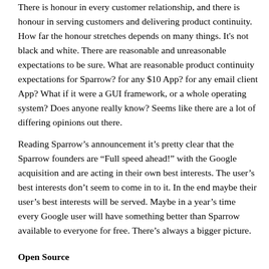There is honour in every customer relationship, and there is honour in serving customers and delivering product continuity. How far the honour stretches depends on many things. It's not black and white. There are reasonable and unreasonable expectations to be sure. What are reasonable product continuity expectations for Sparrow? for any $10 App? for any email client App? What if it were a GUI framework, or a whole operating system? Does anyone really know? Seems like there are a lot of differing opinions out there.
Reading Sparrow’s announcement it’s pretty clear that the Sparrow founders are “Full speed ahead!” with the Google acquisition and are acting in their own best interests. The user’s best interests don’t seem to come in to it. In the end maybe their user’s best interests will be served. Maybe in a year’s time every Google user will have something better than Sparrow available to everyone for free. There’s always a bigger picture.
Open Source